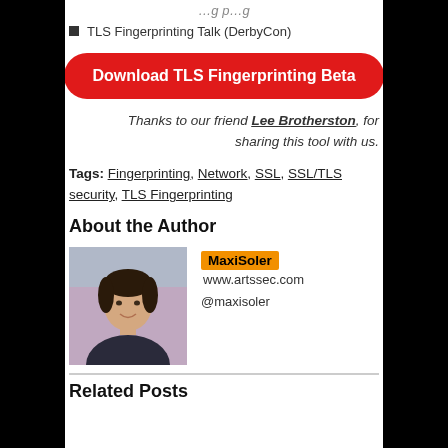TLS Fingerprinting Talk (DerbyCon)
[Figure (other): Red rounded rectangle button with white text: Download TLS Fingerprinting Beta]
Thanks to our friend Lee Brotherston, for sharing this tool with us.
Tags: Fingerprinting, Network, SSL, SSL/TLS security, TLS Fingerprinting
About the Author
[Figure (photo): Photo of a young man smiling, dark hair, wearing a dark jacket]
MaxiSoler  www.artssec.com  @maxisoler
Related Posts